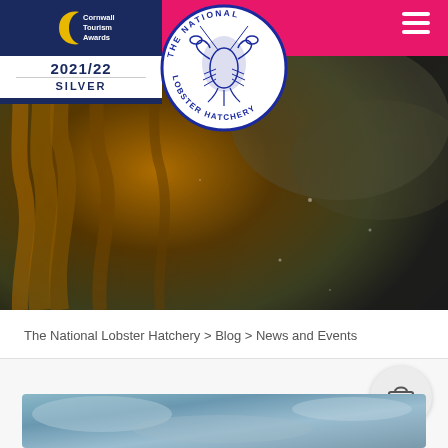[Figure (screenshot): Website screenshot of The National Lobster Hatchery. Pink navigation header bar with hamburger menu on the right. Cornwall Tourism Awards 2021/22 Silver badge in top-left corner. Hero background image showing blurred golden/dark underwater lobster imagery. The National Lobster Hatchery circular logo centered at the top. Breadcrumb navigation reading 'The National Lobster Hatchery > Blog > News and Events'. A cart icon button (shopping bag) in a circle on the right. A partial article card image at the bottom showing blue/grey water imagery.]